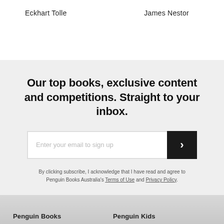Eckhart Tolle
James Nestor
Our top books, exclusive content and competitions. Straight to your inbox.
Enter your email to sign up
By clicking subscribe, I acknowledge that I have read and agree to Penguin Books Australia's Terms of Use and Privacy Policy.
Penguin Books
Penguin Kids